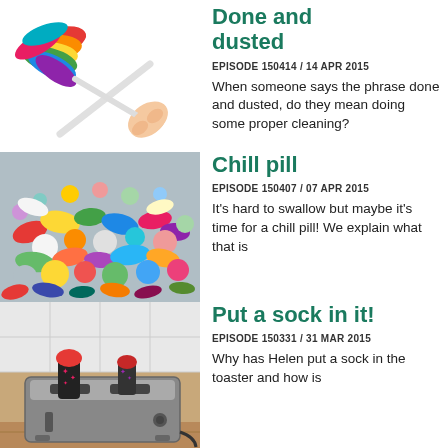[Figure (photo): A colorful rainbow feather duster with white handle held by a hand, on white background]
Done and dusted
EPISODE 150414 / 14 APR 2015
When someone says the phrase done and dusted, do they mean doing some proper cleaning?
[Figure (photo): A pile of colorful mixed pills and tablets of various shapes and sizes]
Chill pill
EPISODE 150407 / 07 APR 2015
It's hard to swallow but maybe it's time for a chill pill! We explain what that is
[Figure (photo): A toaster on a kitchen counter with a sock stuffed into it — the sock is black with pink stars and a red toe]
Put a sock in it!
EPISODE 150331 / 31 MAR 2015
Why has Helen put a sock in the toaster and how is